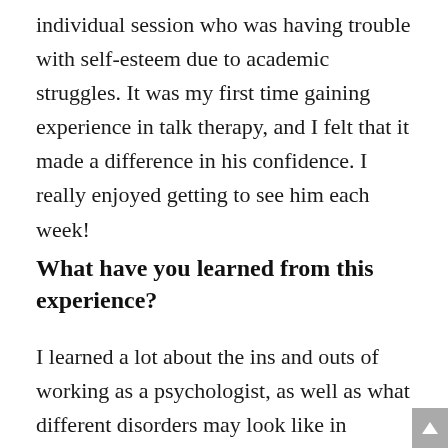individual session who was having trouble with self-esteem due to academic struggles. It was my first time gaining experience in talk therapy, and I felt that it made a difference in his confidence. I really enjoyed getting to see him each week!
What have you learned from this experience?
I learned a lot about the ins and outs of working as a psychologist, as well as what different disorders may look like in different patients. At the end of my internship, I felt confident to...